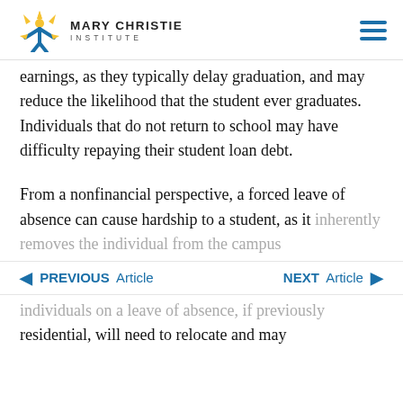MARY CHRISTIE INSTITUTE
earnings, as they typically delay graduation, and may reduce the likelihood that the student ever graduates. Individuals that do not return to school may have difficulty repaying their student loan debt.
From a nonfinancial perspective, a forced leave of absence can cause hardship to a student, as it inherently removes the individual from the campus
PREVIOUS Article   NEXT Article
individuals on a leave of absence, if previously residential, will need to relocate and may